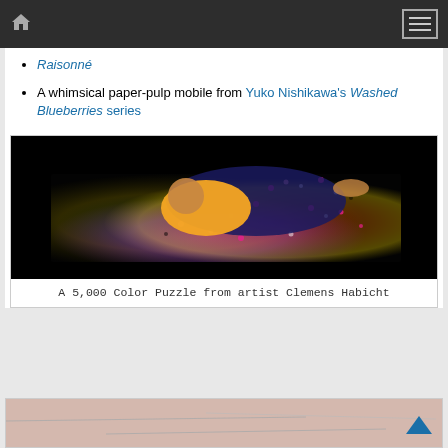[Navigation bar with home icon and hamburger menu]
Raisonné
A whimsical paper-pulp mobile from Yuko Nishikawa's Washed Blueberries series
[Figure (photo): Overhead view of a person in a yellow shirt lying on a colorful 5,000 piece color puzzle by artist Clemens Habicht, with scattered puzzle pieces on a gradient rainbow background]
A 5,000 Color Puzzle from artist Clemens Habicht
[Figure (photo): Bottom portion of another artwork partially visible at the bottom of the page, pink/beige tones]